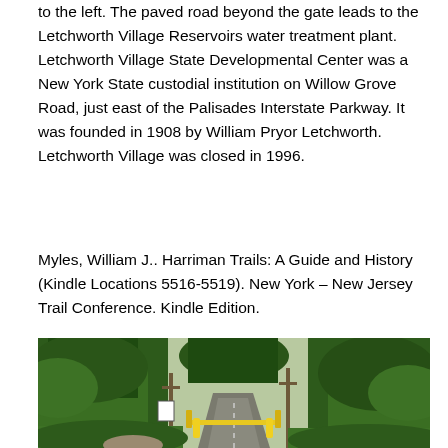to the left. The paved road beyond the gate leads to the Letchworth Village Reservoirs water treatment plant. Letchworth Village State Developmental Center was a New York State custodial institution on Willow Grove Road, just east of the Palisades Interstate Parkway. It was founded in 1908 by William Pryor Letchworth. Letchworth Village was closed in 1996.
Myles, William J.. Harriman Trails: A Guide and History (Kindle Locations 5516-5519). New York – New Jersey Trail Conference. Kindle Edition.
[Figure (photo): Photograph of a gated paved road surrounded by dense green trees and foliage, with yellow gate barriers and utility poles visible.]